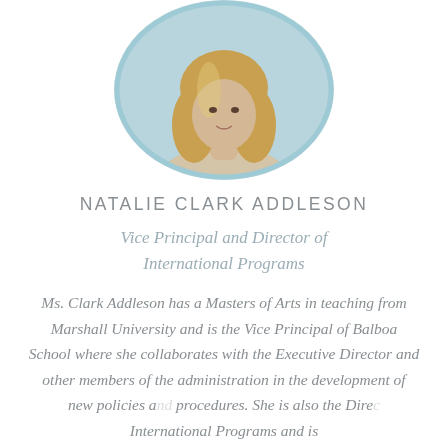[Figure (photo): Circular headshot photo of Natalie Clark Addleson, a woman with long blonde hair, cropped at the top of the page showing upper body/face area within a light blue circular border frame.]
NATALIE CLARK ADDLESON
Vice Principal and Director of International Programs
Ms. Clark Addleson has a Masters of Arts in teaching from Marshall University and is the Vice Principal of Balboa School where she collaborates with the Executive Director and other members of the administration in the development of new policies and procedures. She is also the Director of International Programs and is